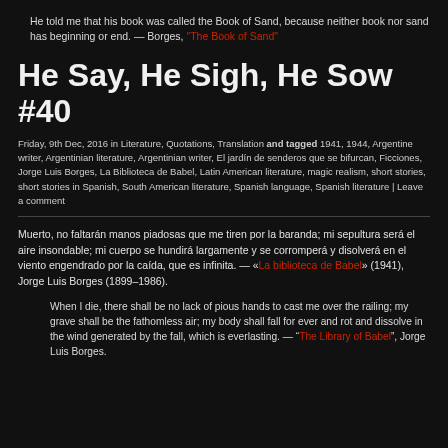He told me that his book was called the Book of Sand, because neither book nor sand has beginning or end. — Borges, “The Book of Sand”
He Say, He Sigh, He Sow #40
Friday, 9th Dec, 2016 in Literature, Quotations, Translation and tagged 1941, 1944, Argentine writer, Argentinian literature, Argentinian writer, El jardín de senderos que se bifurcan, Ficciones, Jorge Luis Borges, La Biblioteca de Babel, Latin American literature, magic realism, short stories, short stories in Spanish, South American literature, Spanish language, Spanish literature | Leave a comment
Muerto, no faltarán manos piadosas que me tiren por la baranda; mi sepultura será el aire insondable; mi cuerpo se hundirá largamente y se corromperá y disolverá en el viento engendrado por la caída, que es infinita. — «La biblioteca de Babel» (1941), Jorge Luis Borges (1899–1986).
When I die, there shall be no lack of pious hands to cast me over the railing; my grave shall be the fathomless air; my body shall fall for ever and rot and dissolve in the wind generated by the fall, which is everlasting. — “The Library of Babel”, Jorge Luis Borges.